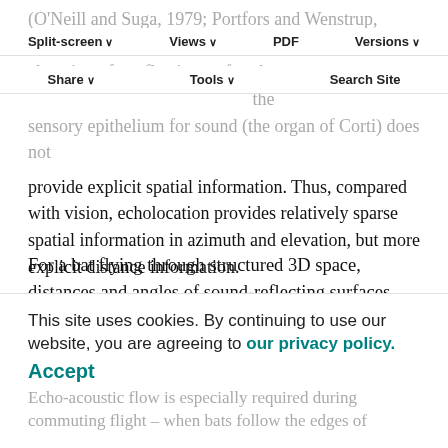(O'Neill and Suga, 1979; Portfors and Wenstrup, 1999, 2001; Suga, 1970, 1990). Azimuth and elevation of a reflective surface have binaural cues to compute the sensory epithelium for sound (the organ of Corti) does not provide explicit spatial information. Thus, compared with vision, echolocation provides relatively sparse spatial information in azimuth and elevation, but more explicit distance information.
Split-screen | Views | PDF | Versions | Share | Tools | Search Site
For a bat flying through structured 3D space, distances and angles of sound-reflecting surfaces change continuously, effectively creating an echo-acoustic flow. This continuous flow, however, is discretely sampled by bats and thus is not
This site uses cookies. By continuing to use our website, you are agreeing to our privacy policy. Accept
Echo-acoustic flow is especially required during commuting flight – when bats follow the edges of